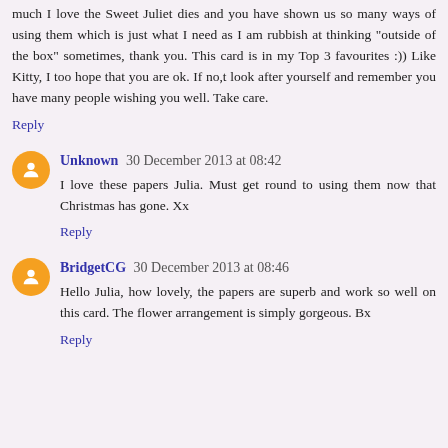much I love the Sweet Juliet dies and you have shown us so many ways of using them which is just what I need as I am rubbish at thinking "outside of the box" sometimes, thank you. This card is in my Top 3 favourites :)) Like Kitty, I too hope that you are ok. If no,t look after yourself and remember you have many people wishing you well. Take care.
Reply
Unknown  30 December 2013 at 08:42
I love these papers Julia. Must get round to using them now that Christmas has gone. Xx
Reply
BridgetCG  30 December 2013 at 08:46
Hello Julia, how lovely, the papers are superb and work so well on this card. The flower arrangement is simply gorgeous. Bx
Reply